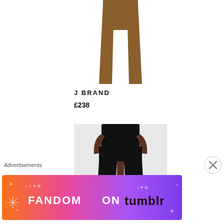[Figure (photo): Brown/tan suede leggings product photo on white background, showing legs from waist down]
J BRAND
£238
[Figure (photo): Black high-waist leggings/shorts product photo on light grey background, showing a woman's torso and upper legs]
Advertisements
[Figure (other): Fandom on Tumblr advertisement banner with colorful gradient background (orange, pink, purple) and white/black text reading FANDOM ON tumblr with decorative icons]